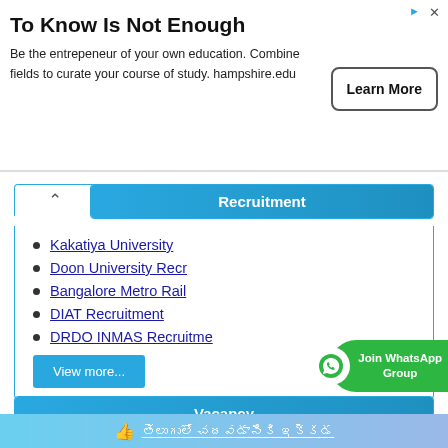[Figure (other): Advertisement banner: 'To Know Is Not Enough' with 'Learn More' button for hampshire.edu]
Recruitment
Kakatiya University
Doon University Recr
Bangalore Metro Rail
DIAT Recruitment
DRDO INMAS Recruitme
View more...
Vacancy
Jobs In Tuticorin
Jobs In Vellore
Jobs In Vijayawada
👍 తెలుగులో చదవడానికి ఇక్కడ